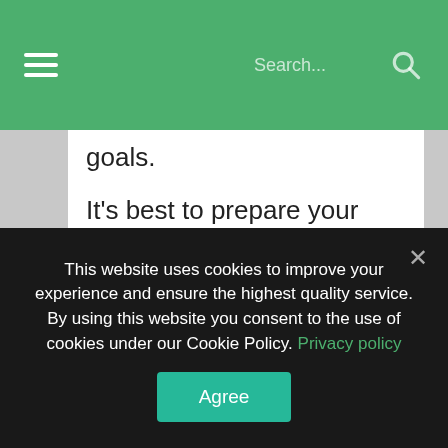Navigation bar with hamburger menu and search
goals.
It's best to prepare your pre-workout meal in the morning according to the following formula:
the basis of the meal are complex carbohydrates (cereals, wholemeal bread, grains and nuts),
the second most important place on the plate belongs to protein (eggs
This website uses cookies to improve your experience and ensure the highest quality service. By using this website you consent to the use of cookies under our Cookie Policy. Privacy policy
Agree